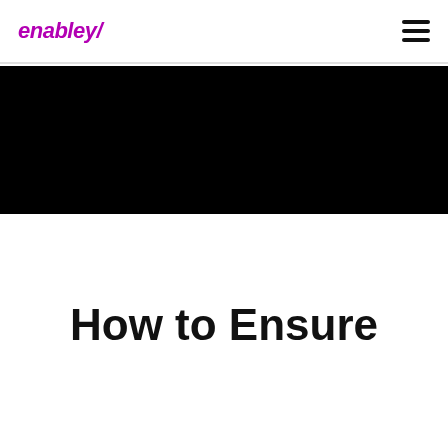enabley
[Figure (photo): Black hero image banner]
How to Ensure